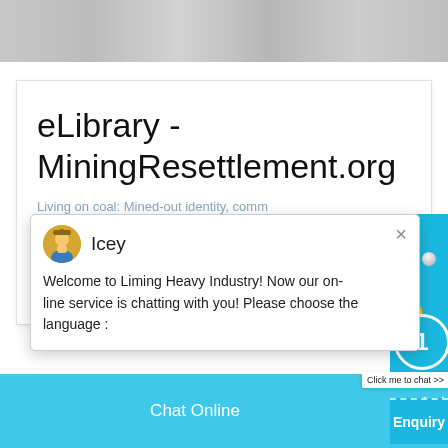[Figure (photo): Top banner with grayscale/metallic textured image, partially visible]
eLibrary - MiningResettlement.org
Living on coal: Mined-out identity, community displacement and forming of anti-coal re...
[Figure (screenshot): Live chat popup from Liming Heavy Industry with agent Icey saying: Welcome to Liming Heavy Industry! Now our on-line service is chatting with you! Please choose the language :]
Get Quote
Enquiry
Chat Online
cywaitml@gmail.com